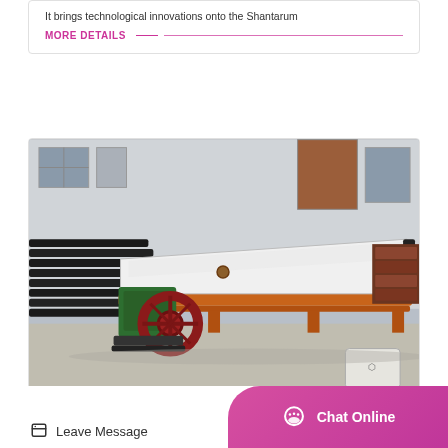It brings technological innovations onto the Shantarum
MORE DETAILS
[Figure (photo): Industrial shaking table machine with green motor housing and large red flywheel, white table surface, orange frame, photographed outdoors in a factory yard with black steel beams stacked nearby and a concrete building in the background.]
Leave Message
Chat Online